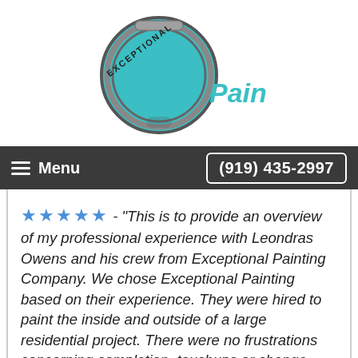[Figure (logo): Exceptional Painting company logo with teal paint can lid and text 'Painting']
Menu   (919) 435-2997
★★★★★ - "This is to provide an overview of my professional experience with Leondras Owens and his crew from Exceptional Painting Company. We chose Exceptional Painting based on their experience. They were hired to paint the inside and outside of a large residential project. There were no frustrations concerning completion, touchups or change requests. If you asked for something to be fixed, it was fixed right away. Leondras was extremely pleasant to work with, paid attention to detail and listened to the needs of the customer and addressed them in a very professional manner. He took great pride in his work, which is rare